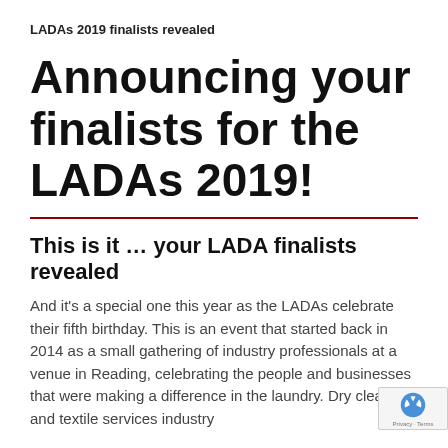LADAs 2019 finalists revealed
Announcing your finalists for the LADAs 2019!
This is it … your LADA finalists revealed
And it's a special one this year as the LADAs celebrate their fifth birthday. This is an event that started back in 2014 as a small gathering of industry professionals at a venue in Reading, celebrating the people and businesses that were making a difference in the laundry. Dry cleaning and textile services industry